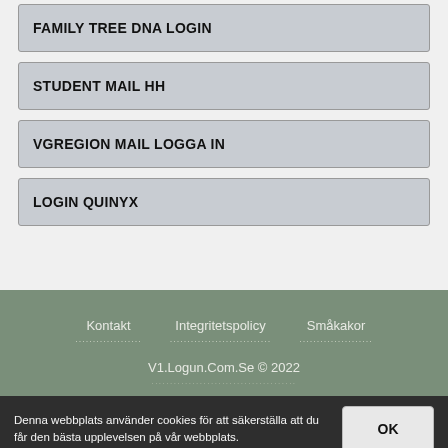FAMILY TREE DNA LOGIN
STUDENT MAIL HH
VGREGION MAIL LOGGA IN
LOGIN QUINYX
Kontakt  Integritetspolicy  Småkakor  V1.Logun.Com.Se © 2022
Denna webbplats använder cookies för att säkerställa att du får den bästa upplevelsen på vår webbplats.